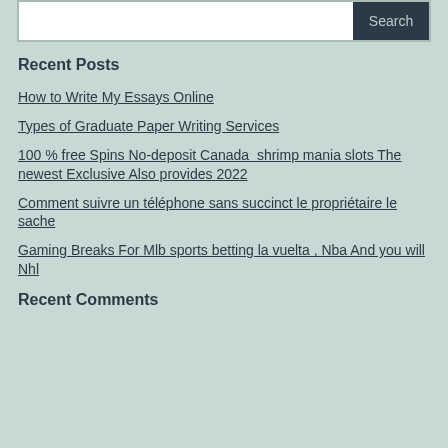Recent Posts
How to Write My Essays Online
Types of Graduate Paper Writing Services
100 % free Spins No-deposit Canada  shrimp mania slots The newest Exclusive Also provides 2022
Comment suivre un téléphone sans succinct le propriétaire le sache
Gaming Breaks For Mlb sports betting la vuelta , Nba And you will Nhl
Recent Comments